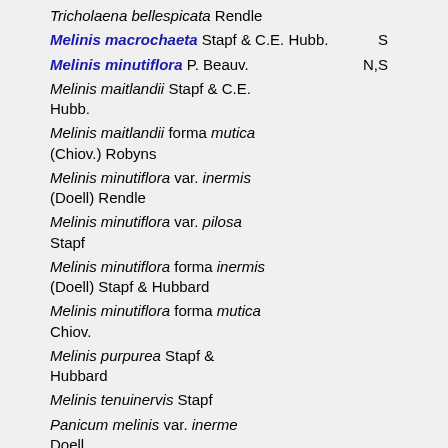Tricholaena bellespicata Rendle
Melinis macrochaeta Stapf & C.E. Hubb. — S
Melinis minutiflora P. Beauv. — N,S
Melinis maitlandii Stapf & C.E. Hubb.
Melinis maitlandii forma mutica (Chiov.) Robyns
Melinis minutiflora var. inermis (Doell) Rendle
Melinis minutiflora var. pilosa Stapf
Melinis minutiflora forma inermis (Doell) Stapf & Hubbard
Melinis minutiflora forma mutica Chiov.
Melinis purpurea Stapf & Hubbard
Melinis tenuinervis Stapf
Panicum melinis var. inerme Doell
Panicum minutiflorum (Beauv.) Raspail